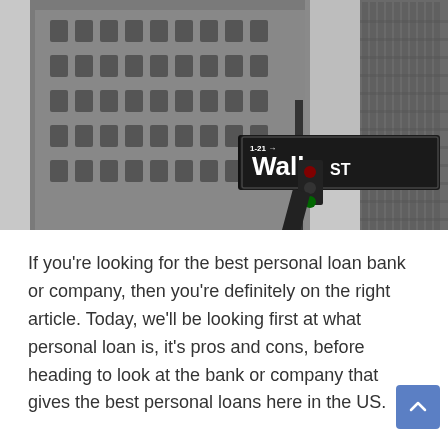[Figure (photo): Black and white photograph of Wall Street sign on a pole with tall city buildings in the background. The street sign reads 'Wall ST' with '1-21' above it.]
If you're looking for the best personal loan bank or company, then you're definitely on the right article. Today, we'll be looking first at what personal loan is, it's pros and cons, before heading to look at the bank or company that gives the best personal loans here in the US.